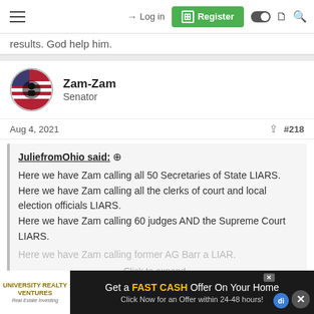Login | Register
results. God help him.
Zam-Zam
Senator
Aug 4, 2021	#218
JuliefromOhio said: ⊕

Here we have Zam calling all 50 Secretaries of State LIARS.
Here we have Zam calling all the clerks of court and local election officials LIARS.
Here we have Zam calling 60 judges AND the Supreme Court LIARS.
Here we have Zam calling former AG Barr a LIAR.

Click to expand...
[Figure (other): Advertisement banner: University Realty Ventures logo and 'Get a FAST CASH Offer On Your Home - Click Now for an Offer within 24-48 hours!']